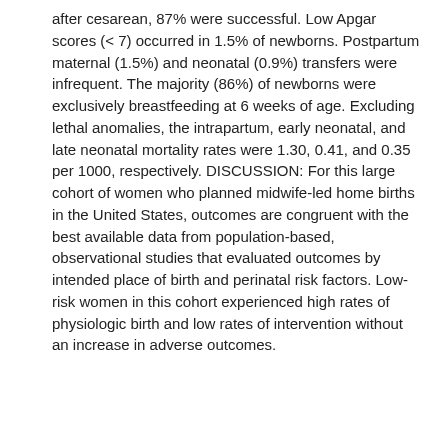after cesarean, 87% were successful. Low Apgar scores (< 7) occurred in 1.5% of newborns. Postpartum maternal (1.5%) and neonatal (0.9%) transfers were infrequent. The majority (86%) of newborns were exclusively breastfeeding at 6 weeks of age. Excluding lethal anomalies, the intrapartum, early neonatal, and late neonatal mortality rates were 1.30, 0.41, and 0.35 per 1000, respectively. DISCUSSION: For this large cohort of women who planned midwife-led home births in the United States, outcomes are congruent with the best available data from population-based, observational studies that evaluated outcomes by intended place of birth and perinatal risk factors. Low-risk women in this cohort experienced high rates of physiologic birth and low rates of intervention without an increase in adverse outcomes.